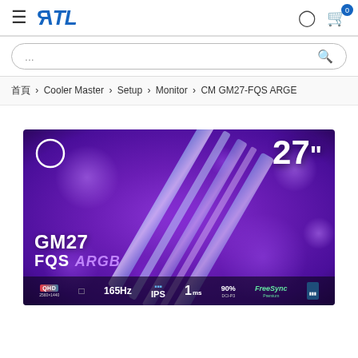RTL navigation bar with hamburger menu, RTL logo, user icon, and cart icon with badge 0
...
首頁 > Cooler Master > Setup > Monitor > CM GM27-FQS ARGB
[Figure (photo): Product image of Cooler Master GM27 FQS ARGB monitor on purple bokeh background showing 27 inch size, with specs bar at bottom: QHD 165Hz IPS 1ms 90% DCI-P3 FreeSync Premium]